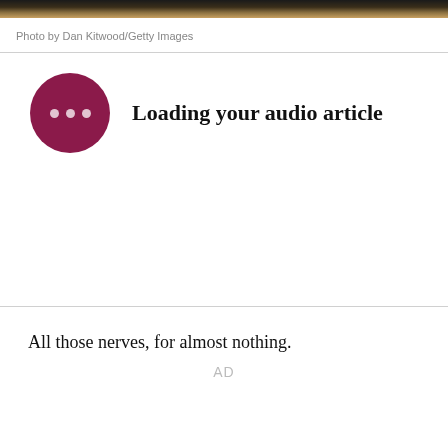[Figure (photo): Cropped top portion of a photo showing hair/fur, dark at top fading to golden/brown tones]
Photo by Dan Kitwood/Getty Images
[Figure (other): Audio article player UI: dark magenta/crimson circular button with three white dots, and bold text 'Loading your audio article']
All those nerves, for almost nothing.
AD